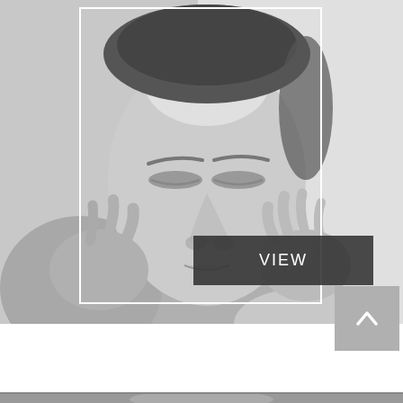[Figure (photo): Grayscale close-up photo of a woman with closed eyes touching her face with both hands, with a white rectangular border overlay and a dark 'VIEW' button.]
VIEW
[Figure (other): Gray square scroll-up button with a caret/up-arrow chevron icon]
[Figure (other): White circle button with three dots (ellipsis)]
MEN'S SERVICES
[Figure (other): Purple circle chat button with 'CHAT' text and speech bubble icon]
[Figure (photo): Partial grayscale image visible at the very bottom of the page]